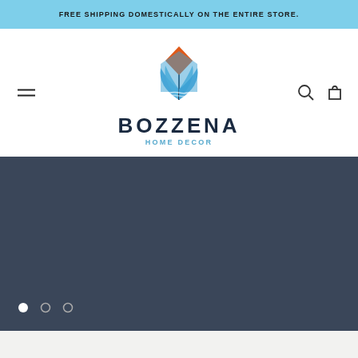FREE SHIPPING DOMESTICALLY ON THE ENTIRE STORE.
[Figure (logo): Bozzena Home Decor logo: a house-shaped icon with orange diamond roof, blue layered fan/leaf shapes, and the text BOZZENA HOME DECOR below]
[Figure (photo): Dark blue-gray hero image banner area (image not fully loaded), with carousel navigation dots at the bottom left (one filled white, two outlined)]